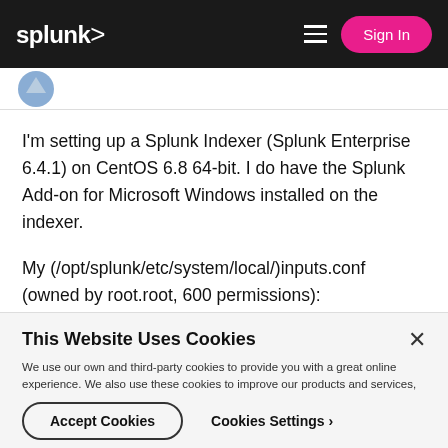splunk> Sign In
I'm setting up a Splunk Indexer (Splunk Enterprise 6.4.1) on CentOS 6.8 64-bit. I do have the Splunk Add-on for Microsoft Windows installed on the indexer.

My (/opt/splunk/etc/system/local/)inputs.conf (owned by root.root, 600 permissions):
This Website Uses Cookies
We use our own and third-party cookies to provide you with a great online experience. We also use these cookies to improve our products and services, support our marketing campaigns, and advertise to you on our website and other websites. Some cookies may continue to collect information after you have left our website. Learn more here ›
Accept Cookies   Cookies Settings ›